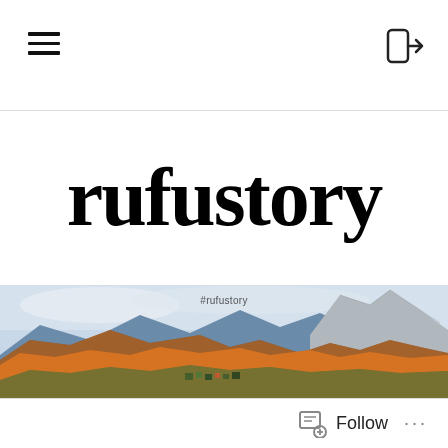rufustory
#rufustory
[Figure (photo): Autumn mountain landscape with colorful foliage covering the hillsides, a rocky peak visible on the right, and a small village nestled in the valley below. Blue sky with light clouds.]
Follow ...